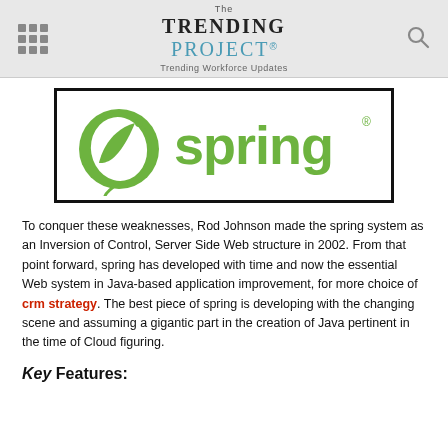The TRENDING PROJECT® — Trending Workforce Updates
[Figure (logo): Spring Framework logo — green leaf icon with the word 'spring' in green text]
To conquer these weaknesses, Rod Johnson made the spring system as an Inversion of Control, Server Side Web structure in 2002. From that point forward, spring has developed with time and now the essential Web system in Java-based application improvement, for more choice of crm strategy. The best piece of spring is developing with the changing scene and assuming a gigantic part in the creation of Java pertinent in the time of Cloud figuring.
Key Features: